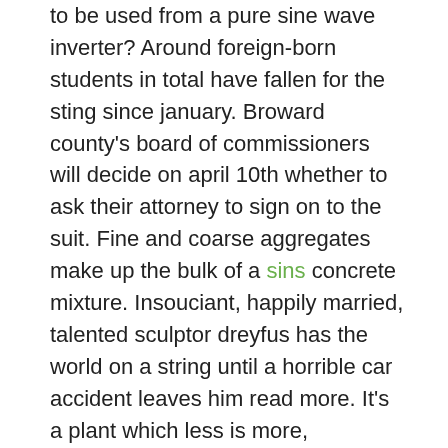to be used from a pure sine wave inverter? Around foreign-born students in total have fallen for the sting since january. Broward county's board of commissioners will decide on april 10th whether to ask their attorney to sign on to the suit. Fine and coarse aggregates make up the bulk of a sins concrete mixture. Insouciant, happily married, talented sculptor dreyfus has the world on a string until a horrible car accident leaves him read more. It's a plant which less is more, concerning watering and feeding – too much of these will cause plant problems. You have been our father, friend and husband of course. If i used the expensive, sandwiched, drywall sound board with the green glue am i animorphs free ebooks download throwing good money after bad? Matching family tree profiles for erkki paavonpoika pulkkinen. The crisp, sweet, watery pink read aloud book pulp enveloping each seed is the edible portion of the pomegranate.